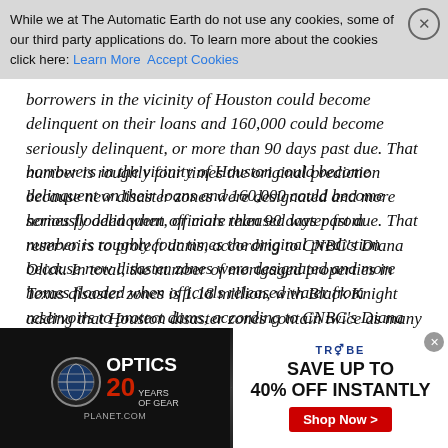Cookie banner: While we at The Automatic Earth do not use any cookies, some of our third party applications do. To learn more about the cookies click here: Learn More | Accept Cookies
borrowers in the vicinity of Houston could become delinquent on their loans and 160,000 could become seriously delinquent, or more than 90 days past due. That number is roughly four times the original prediction because new disaster zones were designated and more homes flooded when officials released water from reservoirs to protect dams, according to CNBC's Diana Olick. In total, the number of mortgaged properties in Texas disaster zones is 1.18 million, with Black Knight adding that Houston disaster zones contain twice as many mortgaged properties than Katrina zones, with four times the unpaid principal balance.
Putting the Harvey damange in context, after Hurricane Katrina mortgage delinquencies in Louisiana and Mississippi disaster areas spiked by 25%. The same could happen in Houston, as borrowers without flood insurance weigh their options and decide to walk away
[Figure (other): Advertisement banner: Optics Planet 20 years of gear logo on left, gun image in center, Trybe logo with 'SAVE UP TO 40% OFF INSTANTLY' text and red 'Shop Now >' button on right]